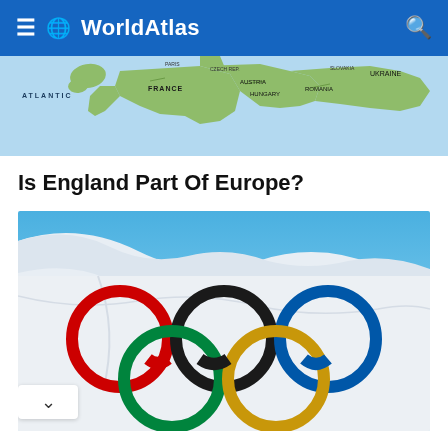WorldAtlas
[Figure (map): Map of Europe showing Atlantic Ocean on left, France, Austria, Hungary, Romania, Ukraine and surrounding countries labeled]
Is England Part Of Europe?
[Figure (photo): Olympic flag with five interlocking rings (red, black, blue, yellow, green) waving against a blue sky background]